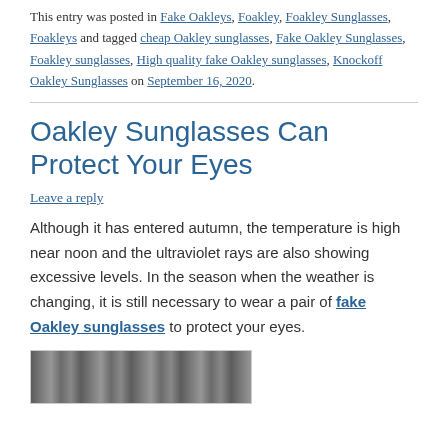This entry was posted in Fake Oakleys, Foakley, Foakley Sunglasses, Foakleys and tagged cheap Oakley sunglasses, Fake Oakley Sunglasses, Foakley sunglasses, High quality fake Oakley sunglasses, Knockoff Oakley Sunglasses on September 16, 2020.
Oakley Sunglasses Can Protect Your Eyes
Leave a reply
Although it has entered autumn, the temperature is high near noon and the ultraviolet rays are also showing excessive levels. In the season when the weather is changing, it is still necessary to wear a pair of fake Oakley sunglasses to protect your eyes.
[Figure (photo): Black and white photograph of sunglasses with an Oakley logo]